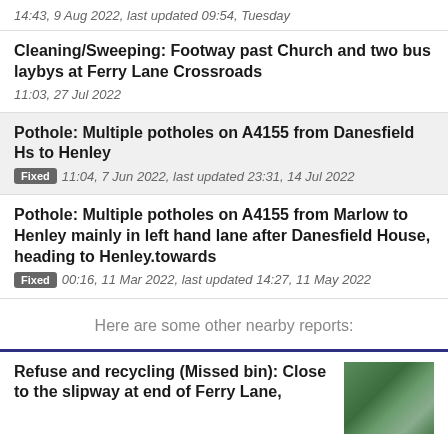14:43, 9 Aug 2022, last updated 09:54, Tuesday
Cleaning/Sweeping: Footway past Church and two bus laybys at Ferry Lane Crossroads
11:03, 27 Jul 2022
Pothole: Multiple potholes on A4155 from Danesfield Hs to Henley
Fixed 11:04, 7 Jun 2022, last updated 23:31, 14 Jul 2022
Pothole: Multiple potholes on A4155 from Marlow to Henley mainly in left hand lane after Danesfield House, heading to Henley.towards
Fixed 00:16, 11 Mar 2022, last updated 14:27, 11 May 2022
Here are some other nearby reports:
Refuse and recycling (Missed bin): Close to the slipway at end of Ferry Lane,
[Figure (photo): Photo of bins/recycling items on a grassy path outdoors]